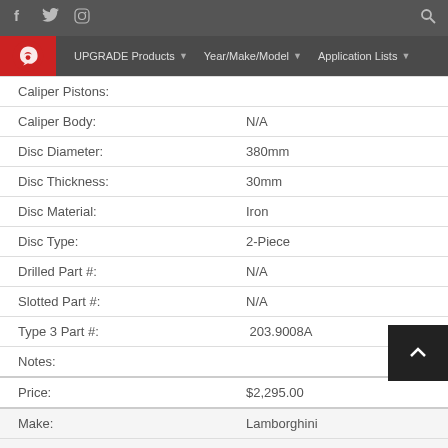f  twitter  instagram  [search icon]  UPGRADE Products  Year/Make/Model  Application Lists
| Field | Value |
| --- | --- |
| Caliper Pistons: |  |
| Caliper Body: | N/A |
| Disc Diameter: | 380mm |
| Disc Thickness: | 30mm |
| Disc Material: | Iron |
| Disc Type: | 2-Piece |
| Drilled Part #: | N/A |
| Slotted Part #: | N/A |
| Type 3 Part #: | 203.9008A |
| Notes: |  |
| Price: | $2,295.00 |
| Make: | Lamborghini |
| Model: | Gallardo LP 550-2 / 560-4 / 570-4 (Excluding Carbon-Ceramic Brake) |